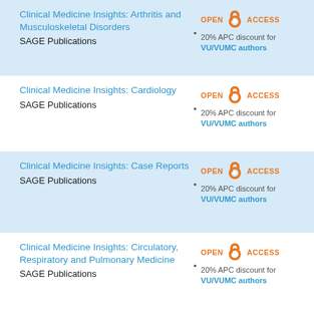Clinical Medicine Insights: Arthritis and Musculoskeletal Disorders
SAGE Publications
20% APC discount for VU/VUMC authors
Clinical Medicine Insights: Cardiology
SAGE Publications
20% APC discount for VU/VUMC authors
Clinical Medicine Insights: Case Reports
SAGE Publications
20% APC discount for VU/VUMC authors
Clinical Medicine Insights: Circulatory, Respiratory and Pulmonary Medicine
SAGE Publications
20% APC discount for VU/VUMC authors